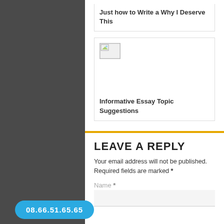Just how to Write a Why I Deserve This
[Figure (illustration): Broken image placeholder icon]
Informative Essay Topic Suggestions
LEAVE A REPLY
Your email address will not be published. Required fields are marked *
Name *
08.66.51.65.65